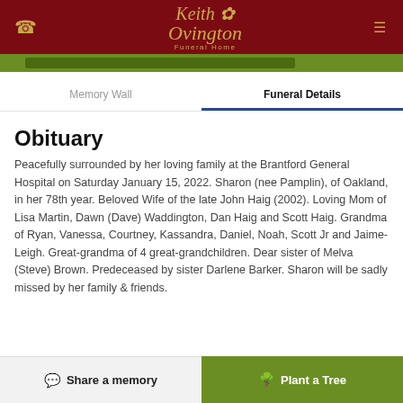Keith Ovington Funeral Home
Memory Wall    Funeral Details
Obituary
Peacefully surrounded by her loving family at the Brantford General Hospital on Saturday January 15, 2022. Sharon (nee Pamplin), of Oakland, in her 78th year. Beloved Wife of the late John Haig (2002). Loving Mom of Lisa Martin, Dawn (Dave) Waddington, Dan Haig and Scott Haig. Grandma of Ryan, Vanessa, Courtney, Kassandra, Daniel, Noah, Scott Jr and Jaime-Leigh. Great-grandma of 4 great-grandchildren. Dear sister of Melva (Steve) Brown. Predeceased by sister Darlene Barker. Sharon will be sadly missed by her family & friends.
Share a memory
Plant a Tree